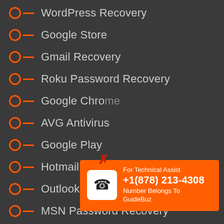WordPress Recovery
Google Store
Gmail Recovery
Roku Password Recovery
Google Chrome
AVG Antivirus
Google Play
Hotmail Recovery
Outlook Recovery
MSN Password Recovery
Spectrum Password
[Figure (infographic): Orange popup box with phone icon and text: For Technical Assist +1(878) 213-4308 Number Belongs To GuideBuz]